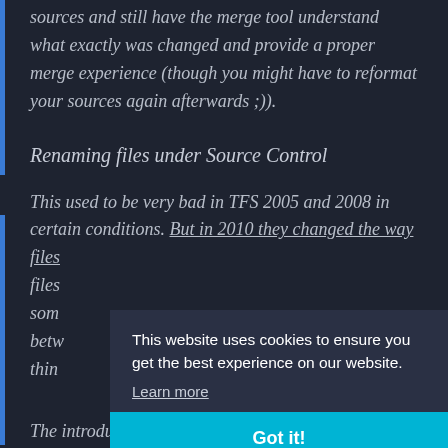sources and still have the merge tool understand what exactly was changed and provide a proper merge experience (though you might have to reformat your sources again afterwards ;)).
Renaming files under Source Control
This used to be very bad in TFS 2005 and 2008 in certain conditions. But in 2010 they changed the way files [partially obscured] files [partially obscured] som[e] betw[een] thin[gs]
This website uses cookies to ensure you get the best experience on our website. Learn more
Got it!
The introduction of the Local Workspaces should